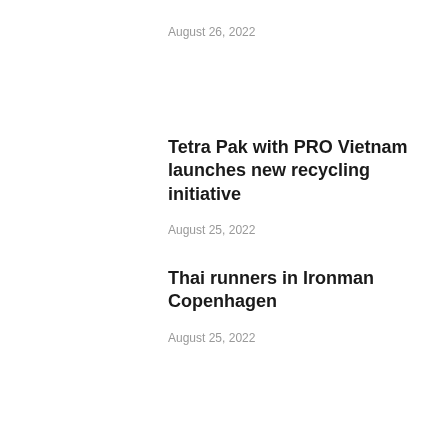August 26, 2022
Tetra Pak with PRO Vietnam launches new recycling initiative
August 25, 2022
Thai runners in Ironman Copenhagen
August 25, 2022